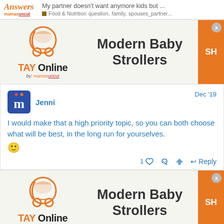Answers mamasuncut — My partner doesn't want anymore kids but … Food & Nutrition question, family, spouses_partner...
[Figure (advertisement): TAY Online by mamas advertisement banner for Modern Baby Strollers with orange stroller logo and orange SH button]
Jenni — Dec '19
I would make that a high priority topic, so you can both choose what will be best, in the long run for yourselves. 🙂
[Figure (advertisement): TAY Online by mamas advertisement banner for Modern Baby Strollers with orange stroller logo and orange SH button (second instance)]